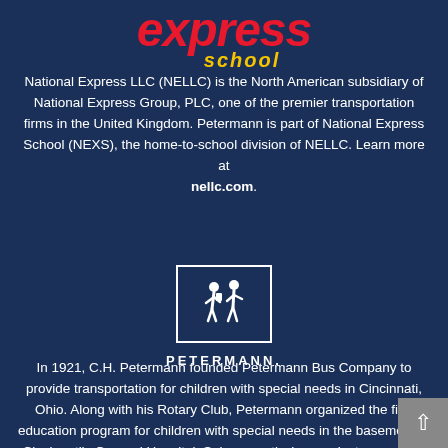[Figure (logo): National Express School logo with 'express' in red italic text and 'school' in yellow italic text below]
National Express LLC (NELLC) is the North American subsidiary of National Express Group, PLC, one of the premier transportation firms in the United Kingdom. Petermann is part of National Express School (NEXS), the home-to-school division of NELLC. Learn more at nellc.com.
[Figure (logo): Petermann logo: white border square containing white silhouette icon of children walking, with PETERMANN. text below]
In 1921, C.H. Petermann founded Petermann Bus Company to provide transportation for children with special needs in Cincinnati, Ohio. Along with his Rotary Club, Petermann organized the first education program for children with special needs in the basement of Cincinnati's General Hospital. Subsequently, he was instrumental in building